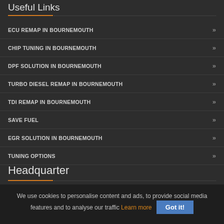Useful Links
ECU REMAP IN BOURNEMOUTH
CHIP TUNING IN BOURNEMOUTH
DPF SOLUTION IN BOURNEMOUTH
TURBO DIESEL REMAP IN BOURNEMOUTH
TDI REMAP IN BOURNEMOUTH
SAVE FUEL
EGR SOLUTION IN BOURNEMOUTH
TUNING OPTIONS
Headquarter
We use cookies to personalise content and ads, to provide social media features and to analyse our traffic Learn more Got it!